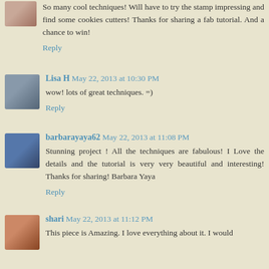So many cool techniques! Will have to try the stamp impressing and find some cookies cutters! Thanks for sharing a fab tutorial. And a chance to win!
Reply
Lisa H May 22, 2013 at 10:30 PM
wow! lots of great techniques. =)
Reply
barbarayaya62 May 22, 2013 at 11:08 PM
Stunning project ! All the techniques are fabulous! I Love the details and the tutorial is very very beautiful and interesting! Thanks for sharing! Barbara Yaya
Reply
shari May 22, 2013 at 11:12 PM
This piece is Amazing. I love everything about it. I would